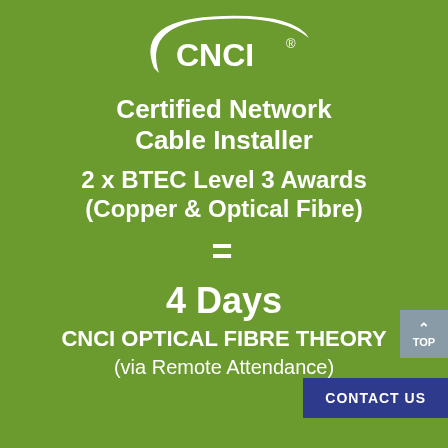[Figure (logo): CNCI logo — white crescent swoosh with CNCI lettering and registered trademark symbol on green background]
Certified Network Cable Installer
2 x BTEC Level 3 Awards (Copper & Optical Fibre)
=
4 Days
CNCI OPTICAL FIBRE THEORY
(via Remote Attendance)